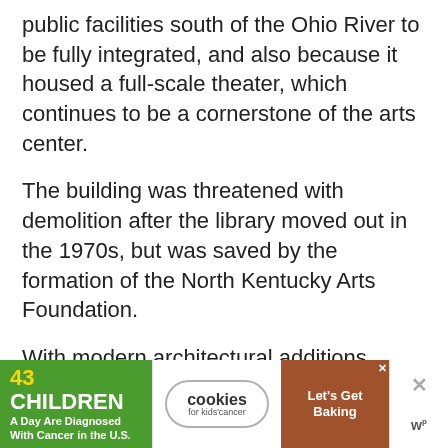public facilities south of the Ohio River to be fully integrated, and also because it housed a full-scale theater, which continues to be a cornerstone of the arts center.
The building was threatened with demolition after the library moved out in the 1970s, but was saved by the formation of the North Kentucky Arts Foundation.
With modern architectural additions added in the 2000s, the Carnegie is a fantastic place to catch an exhibition, concert or play, or bring children for rich educational programs.
[Figure (other): Advertisement banner: '43 CHILDREN A Day Are Diagnosed With Cancer in the U.S.' with cookies for kids' cancer logo and 'Let's Get Baking' cookie image, with close/X buttons]